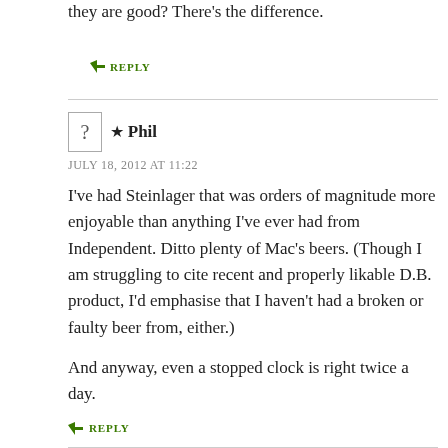they are good? There’s the difference.
➦ REPLY
★ Phil
JULY 18, 2012 AT 11:22
I’ve had Steinlager that was orders of magnitude more enjoyable than anything I’ve ever had from Independent. Ditto plenty of Mac’s beers. (Though I am struggling to cite recent and properly likable D.B. product, I’d emphasise that I haven’t had a broken or faulty beer from, either.)
And anyway, even a stopped clock is right twice a day.
➦ REPLY